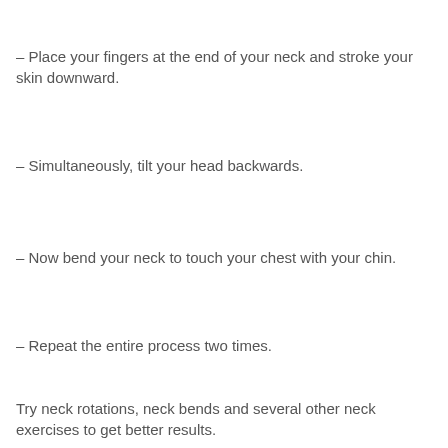– Place your fingers at the end of your neck and stroke your skin downward.
– Simultaneously, tilt your head backwards.
– Now bend your neck to touch your chest with your chin.
– Repeat the entire process two times.
Try neck rotations, neck bends and several other neck exercises to get better results.